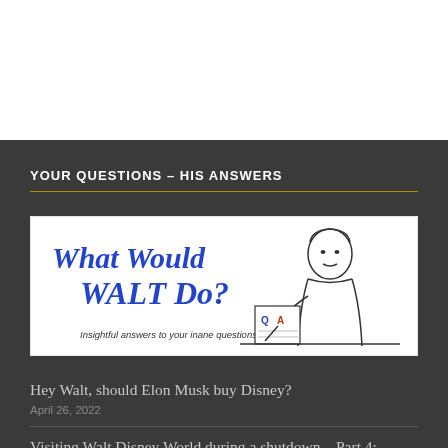YOUR QUESTIONS – HIS ANSWERS
[Figure (illustration): Illustration banner reading 'What Would WALT Do? Insightful answers to your inane questions' with a cartoon sketch of Walt Disney writing at a desk with a Q&A notepad.]
Hey Walt, should Elon Musk buy Disney?
April 26, 2022
Visiting Walt Disney World during a shutdown – Part 4: Animal Kingdom
April 18, 2020